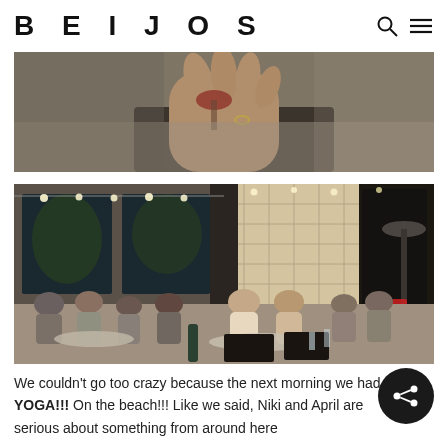BEIJOS
[Figure (photo): Close-up photo of a hand holding a wine glass on a dark leather menu/table surface at a restaurant]
[Figure (photo): Outdoor restaurant patio with string lights, tile walls, and multiple groups of people dining. A patio heater is visible on the right.]
We couldn't go too crazy because the next morning we had YOGA!!!  On the beach!!!  Like we said, Niki and April are serious about something from around here